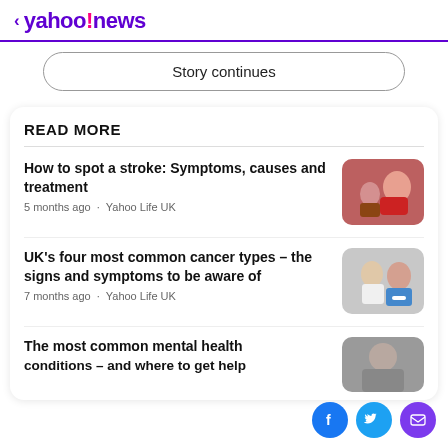< yahoo!news
Story continues
READ MORE
How to spot a stroke: Symptoms, causes and treatment
5 months ago · Yahoo Life UK
[Figure (photo): Person touching their head, stroke awareness photo]
UK's four most common cancer types – the signs and symptoms to be aware of
7 months ago · Yahoo Life UK
[Figure (photo): Doctor with patient, cancer awareness photo]
The most common mental health conditions – and where to get help
[Figure (photo): Mental health article photo]